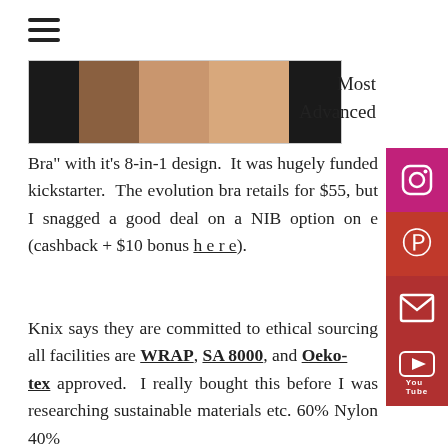[Figure (photo): Top portion of a product photo showing a bra against skin tones, cropped]
Most
Advanced
Bra" with it's 8-in-1 design.  It was hugely funded kickstarter.  The evolution bra retails for $55, but I snagged a good deal on a NIB option on e (cashback + $10 bonus here).
Knix says they are committed to ethical sourcing all facilities are WRAP, SA 8000, and Oeko-tex approved.  I really bought this before I was researching sustainable materials etc. 60% Nylon 40% Spandex.